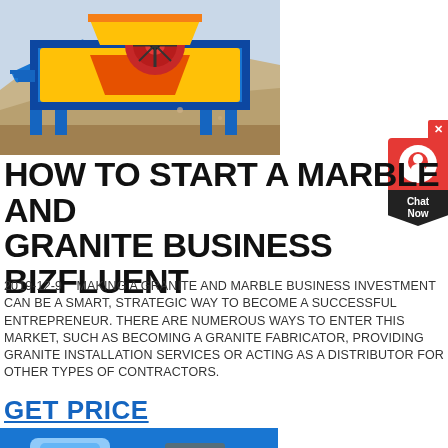[Figure (photo): Industrial mining/crushing machine (jaw crusher) in blue and yellow, with a large red circular component, set in a desert/quarry environment.]
HOW TO START A MARBLE AND GRANITE BUSINESS BIZFLUENT
2019-12-9   MAKING A GRANITE AND MARBLE BUSINESS INVESTMENT CAN BE A SMART, STRATEGIC WAY TO BECOME A SUCCESSFUL ENTREPRENEUR. THERE ARE NUMEROUS WAYS TO ENTER THIS MARKET, SUCH AS BECOMING A GRANITE FABRICATOR, PROVIDING GRANITE INSTALLATION SERVICES OR ACTING AS A DISTRIBUTOR FOR OTHER TYPES OF CONTRACTORS.
GET PRICE
[Figure (photo): Industrial machinery in blue, partial view at the bottom of the page.]